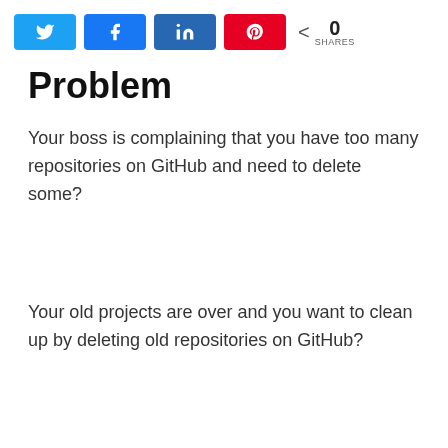[Figure (other): Social share buttons: Twitter, Facebook, LinkedIn, Pinterest, and a share count showing 0 SHARES]
Problem
Your boss is complaining that you have too many repositories on GitHub and need to delete some?
Your old projects are over and you want to clean up by deleting old repositories on GitHub?